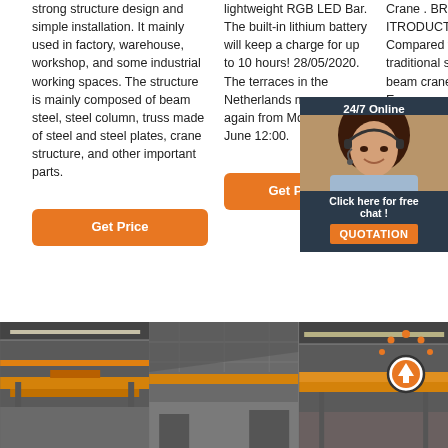strong structure design and simple installation. It mainly used in factory, warehouse, workshop, and some industrial working spaces. The structure is mainly composed of beam steel, steel column, truss made of steel and steel plates, crane structure, and other important parts.
Get Price
lightweight RGB LED Bar. The built-in lithium battery will keep a charge for up to 10 hours! 28/05/2020. The terraces in the Netherlands may open again from Monday 1 June 12:00.
Get Price
Crane . BRIEF ITRODUCTION . Compared to traditional single-beam cranes, European cranes have reasonable price for steel hoisting and acc
Get P...
[Figure (photo): Industrial overhead crane in a factory/warehouse building, yellow crane visible]
[Figure (photo): Interior of industrial building with overhead structure]
[Figure (photo): Industrial building interior with a 'TOP' icon overlay and yellow crane]